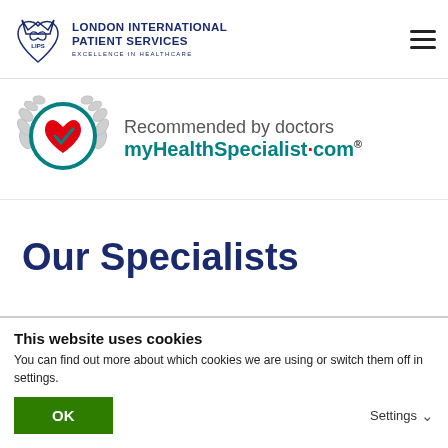[Figure (logo): London International Patient Services (LIPS) logo with heart emblem and text: LONDON INTERNATIONAL PATIENT SERVICES, EXCELLENCE IN HEALTHCARE]
[Figure (logo): myHealthSpecialist.com badge with laurel wreath, teal circle, red heart icon. Text: Recommended by doctors, myHealthSpecialist.com]
Our Specialists
See All Specialists
This website uses cookies
You can find out more about which cookies we are using or switch them off in settings.
OK
Settings